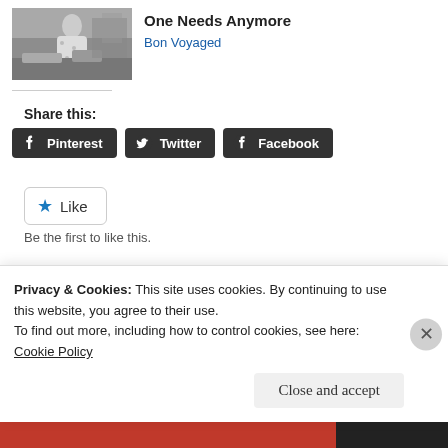[Figure (photo): Black and white vintage photo of a woman in a floral dress working in a kitchen or market setting]
One Needs Anymore
Bon Voyaged
Share this:
Pinterest  Twitter  Facebook
Like
Be the first to like this.
Privacy & Cookies: This site uses cookies. By continuing to use this website, you agree to their use.
To find out more, including how to control cookies, see here:
Cookie Policy
Close and accept